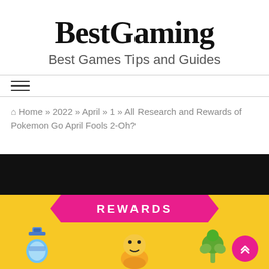BestGaming
Best Games Tips and Guides
☰
Home » 2022 » April » 1 » All Research and Rewards of Pokemon Go April Fools 2-Oh?
[Figure (screenshot): Pokemon Go rewards screenshot showing a yellow rewards card with a pink ribbon banner reading REWARDS, items including a blue potion bottle, a Pokemon character, and a green plant. There is a black bar at the top and a pink circular scroll-to-top button.]